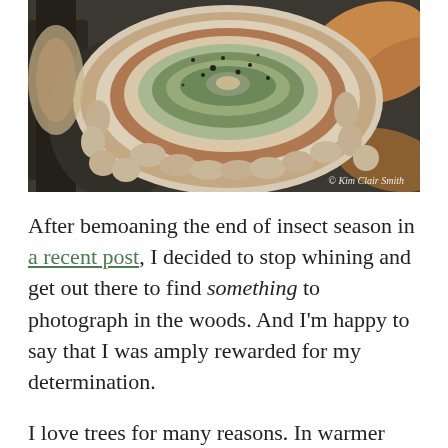[Figure (photo): Close-up photograph of a turkey tail fungus (Trametes versicolor) bracket fungus on a log, showing concentric rings of green, brown, red, and white. Autumn leaves visible in background. Photo credit: © Kim Clair Smith.]
After bemoaning the end of insect season in a recent post, I decided to stop whining and get out there to find something to photograph in the woods. And I'm happy to say that I was amply rewarded for my determination.
I love trees for many reasons. In warmer months